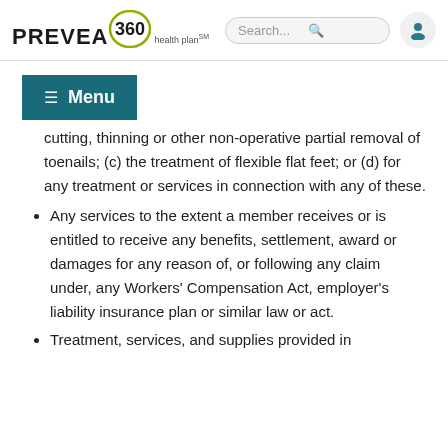[Figure (logo): Prevea360 Health Plan logo with search bar and user icon]
[Figure (other): Navigation menu bar with hamburger icon and Menu text on teal background]
cutting, thinning or other non-operative partial removal of toenails; (c) the treatment of flexible flat feet; or (d) for any treatment or services in connection with any of these.
Any services to the extent a member receives or is entitled to receive any benefits, settlement, award or damages for any reason of, or following any claim under, any Workers' Compensation Act, employer's liability insurance plan or similar law or act.
Treatment, services, and supplies provided in